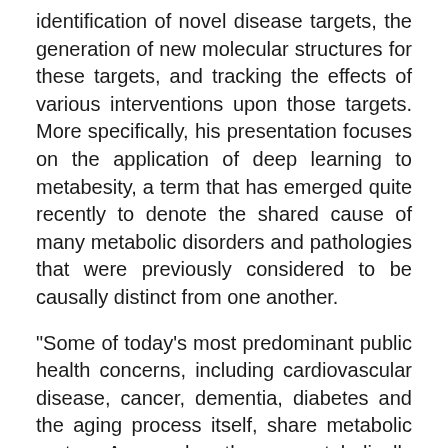identification of novel disease targets, the generation of new molecular structures for these targets, and tracking the effects of various interventions upon those targets. More specifically, his presentation focuses on the application of deep learning to metabesity, a term that has emerged quite recently to denote the shared cause of many metabolic disorders and pathologies that were previously considered to be causally distinct from one another.
"Some of today's most predominant public health concerns, including cardiovascular disease, cancer, dementia, diabetes and the aging process itself, share metabolic roots. As such, these metabolically connected disorders can be targeted in such a way as to treat their shared causal roots, an economically attractive alternative to the mere palliative management of each separate disorder on their own (source: Metabesity 2017; in press not yet in this